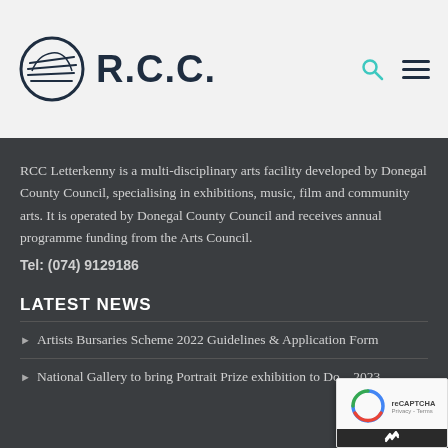[Figure (logo): RCC Letterkenny logo: circular emblem with abstract lines and R.C.C. text]
RCC Letterkenny is a multi-disciplinary arts facility developed by Donegal County Council, specialising in exhibitions, music, film and community arts. It is operated by Donegal County Council and receives annual programme funding from the Arts Council.
Tel: (074) 9129186
LATEST NEWS
Artists Bursaries Scheme 2022 Guidelines & Application Form
National Gallery to bring Portrait Prize exhibition to Do... 2023